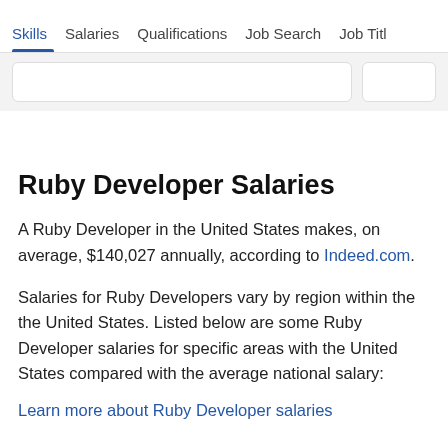Skills  Salaries  Qualifications  Job Search  Job Titl
Ruby Developer Salaries
A Ruby Developer in the United States makes, on average, $140,027 annually, according to Indeed.com.
Salaries for Ruby Developers vary by region within the the United States. Listed below are some Ruby Developer salaries for specific areas with the United States compared with the average national salary:
Learn more about Ruby Developer salaries